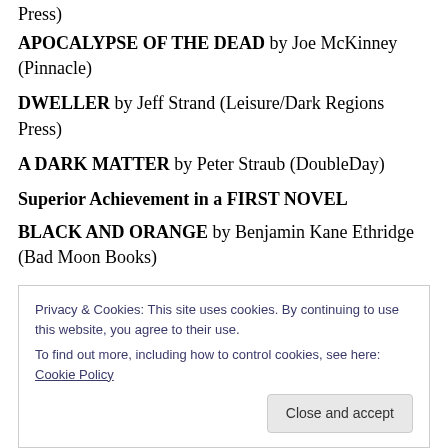Press)
APOCALYPSE OF THE DEAD by Joe McKinney (Pinnacle)
DWELLER by Jeff Strand (Leisure/Dark Regions Press)
A DARK MATTER by Peter Straub (DoubleDay)
Superior Achievement in a FIRST NOVEL
BLACK AND ORANGE by Benjamin Kane Ethridge (Bad Moon Books)
Privacy & Cookies: This site uses cookies. By continuing to use this website, you agree to their use. To find out more, including how to control cookies, see here: Cookie Policy